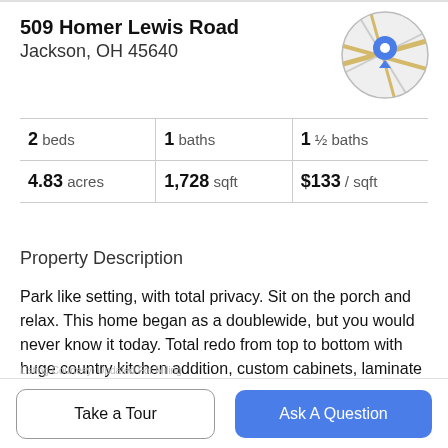509 Homer Lewis Road
Jackson, OH 45640
[Figure (map): Circular map thumbnail showing street map with a blue location pin marker]
2 beds | 1 baths | 1 ½ baths
4.83 acres | 1,728 sqft | $133 / sqft
Property Description
Park like setting, with total privacy. Sit on the porch and relax. This home began as a doublewide, but you would never know it today. Total redo from top to bottom with huge country kitchen addition, custom cabinets, laminate floors, wood covered ceilings and walls and sunroom
Take a Tour | Ask A Question